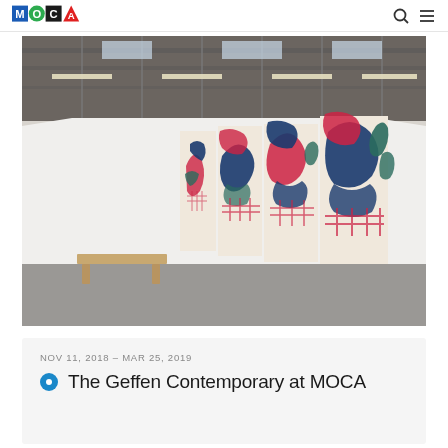MOCA logo and navigation
[Figure (photo): Gallery interior at The Geffen Contemporary at MOCA showing a large series of colorful abstract paintings with red, navy blue, and teal brushstroke patterns hung on white walls. A wooden bench is visible in the foreground on a grey floor. Industrial ceiling with skylights visible above.]
NOV 11, 2018 – MAR 25, 2019
The Geffen Contemporary at MOCA